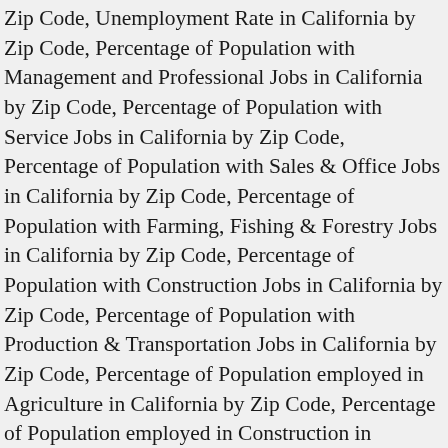Zip Code, Unemployment Rate in California by Zip Code, Percentage of Population with Management and Professional Jobs in California by Zip Code, Percentage of Population with Service Jobs in California by Zip Code, Percentage of Population with Sales & Office Jobs in California by Zip Code, Percentage of Population with Farming, Fishing & Forestry Jobs in California by Zip Code, Percentage of Population with Construction Jobs in California by Zip Code, Percentage of Population with Production & Transportation Jobs in California by Zip Code, Percentage of Population employed in Agriculture in California by Zip Code, Percentage of Population employed in Construction in California by Zip Code, Percentage of Population employed in Manufacturing in California by Zip Code, Percentage of Population employed in Retail in California by Zip Code, Percentage of Population employed in Transportation in California by